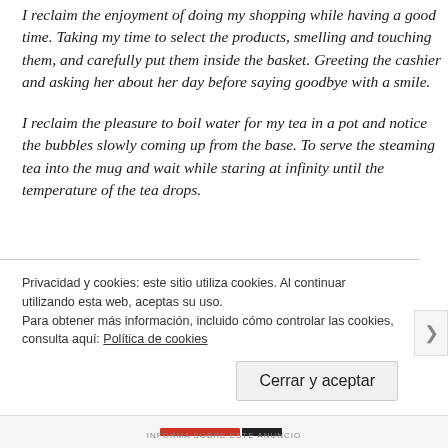I reclaim the enjoyment of doing my shopping while having a good time. Taking my time to select the products, smelling and touching them, and carefully put them inside the basket. Greeting the cashier and asking her about her day before saying goodbye with a smile.
I reclaim the pleasure to boil water for my tea in a pot and notice the bubbles slowly coming up from the base. To serve the steaming tea into the mug and wait while staring at infinity until the temperature of the tea drops.
Privacidad y cookies: este sitio utiliza cookies. Al continuar utilizando esta web, aceptas su uso.
Para obtener más información, incluido cómo controlar las cookies, consulta aquí: Política de cookies
[Cerrar y aceptar]